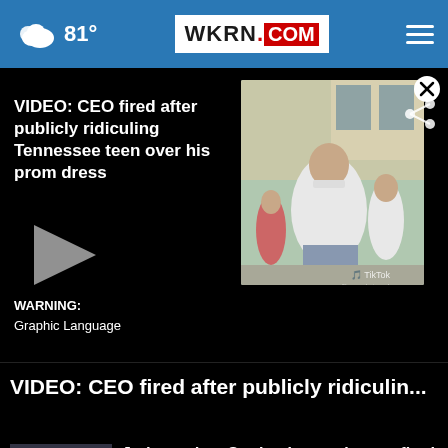81° WKRN.COM
[Figure (screenshot): Video thumbnail showing a man in a white polo shirt at an outdoor event, with people in the background. TikTok watermark visible. Play button and WARNING: Graphic Language text overlay on left side.]
VIDEO: CEO fired after publicly ridiculing Tennessee teen over his prom dress
WARNING: Graphic Language
VIDEO: CEO fired after publicly ridiculin...
[Figure (screenshot): Small thumbnail showing people at what appears to be a Starbucks location with play button overlay]
Judge orders Starbucks to reinstate fired workers ...